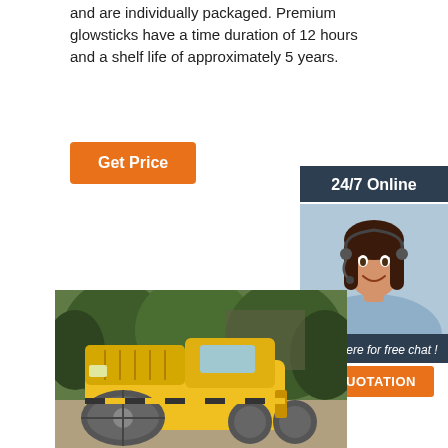and are individually packaged. Premium glowsticks have a time duration of 12 hours and a shelf life of approximately 5 years.
Get Price
24/7 Online
[Figure (photo): Customer support woman with headset smiling]
Click here for free chat !
QUOTATION
[Figure (photo): Yellow road roller / compactor machine on a road, with green trees in background]